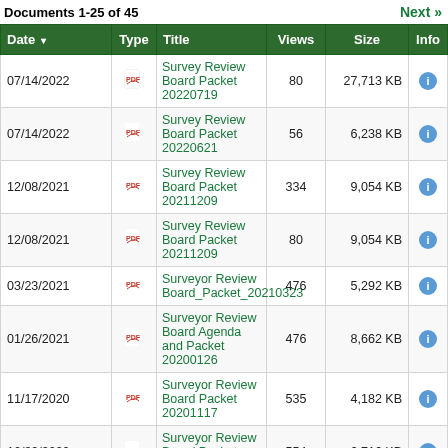Documents 1-25 of 45   Next »
| Date | Type | Title | Views | Size | Info |
| --- | --- | --- | --- | --- | --- |
| 07/14/2022 | PDF | Survey Review Board Packet 20220719 | 80 | 27,713 KB | i |
| 07/14/2022 | PDF | Survey Review Board Packet 20220621 | 56 | 6,238 KB | i |
| 12/08/2021 | PDF | Survey Review Board Packet 20211209 | 334 | 9,054 KB | i |
| 12/08/2021 | PDF | Survey Review Board Packet 20211209 | 80 | 9,054 KB | i |
| 03/23/2021 | PDF | Surveyor Review Board_Packet_20210323 | 476 | 5,292 KB | i |
| 01/26/2021 | PDF | Surveyor Review Board Agenda and Packet 20200126 | 476 | 8,662 KB | i |
| 11/17/2020 | PDF | Surveyor Review Board Packet 20201117 | 535 | 4,182 KB | i |
| 10/22/2020 | PDF | Surveyor Review Board Packet 20201022 | 554 | 6,716 KB | i |
| 09/22/2020 | PDF | Surveyor Review Board Packet 20200924 | 597 | 9,891 KB | i |
|  | PDF | Surveyor Review Board |  |  |  |